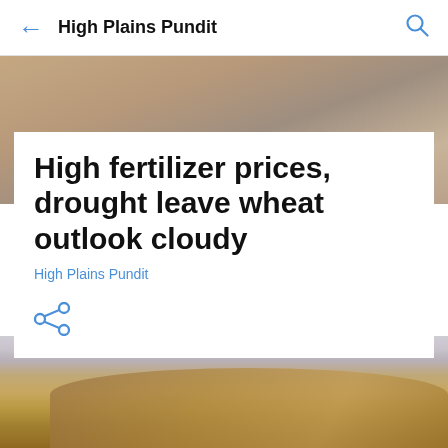High Plains Pundit
[Figure (photo): Blurred wheat field background image at top of page]
High fertilizer prices, drought leave wheat outlook cloudy
High Plains Pundit
[Figure (photo): Close-up photo of wheat stalks with blurred background]